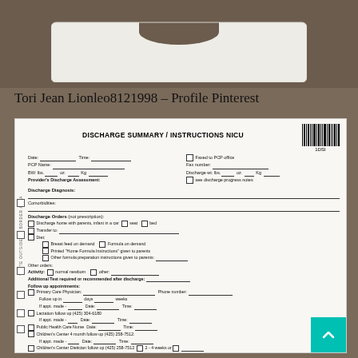[Figure (photo): Photo of a white onesie/baby shirt on a brown background]
Tori Jean Lionleo8121998 – Profile Pinterest
[Figure (screenshot): Screenshot of a NICU Discharge Summary / Instructions form with fields for date, time, PCP name, birth weight, discharge diagnosis, discharge orders, follow-up appointments, and medications. Includes a barcode labeled 1DSI.]
DISCHARGE SUMMARY / INSTRUCTIONS NICU
Date: ___ Time: ___ Faxed to PCP office PCP Name: ___ Fax number: ___ BW: lbs.___ oz. ___ Kg ___ Discharge wt: lbs.___ oz. ___ Kg ___ Provider's Discharge Assessment: see discharge progress notes
Discharge Diagnosis:
Comorbidities:
Discharge Orders (not prescription): Discharge home with parents, infant in a car seat bed Transfer to: ___ Diet: Breast feed on demand Formula on demand Printed "Home Formula Instructions" given to parents Other formula preparation instructions given to parents: ___
Other orders: Activity: normal newborn other: ___ Additional Test required or recommended after discharge: ___
Follow up appointments: Primary Care Physician: ___ Phone number: ___ Follow up in ___ days ___ weeks If appt. made - Date: ___ Time: ___
Lactation follow up (425) 304-6180 If appt. made - Date: ___ Time: ___
Public Health Care Nurse Date: ___ Time: ___
Children's Center 4 month follow up (425) 258-7512: If appt. made - Date: ___ Time: ___
Children's Center Dietician follow up (425) 258-7512 2 - 4 weeks or ___ If appt. made - Date: ___ Time: ___ (Please bring the "Home Formula Instructions" with you to your appointment)
Other: ___
Medication: (medication, dose, frequency, route)